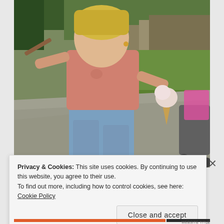[Figure (photo): A young toddler girl with blonde hair wearing a pink t-shirt and light blue jeans, walking on a path. She is holding an ice cream cone in one hand and a stick in the other. Background shows green vegetation, moss-covered rocks, and a paved path. A stroller is partially visible on the right edge.]
Privacy & Cookies: This site uses cookies. By continuing to use this website, you agree to their use.
To find out more, including how to control cookies, see here: Cookie Policy
Close and accept